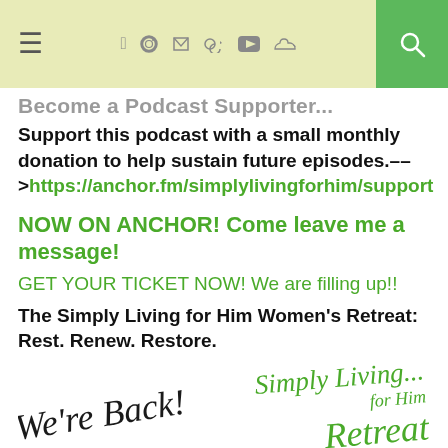≡  [social icons: facebook, twitter, instagram, pinterest, youtube, soundcloud]  [search]
Become a Podcast Supporter...
Support this podcast with a small monthly donation to help sustain future episodes.––> https://anchor.fm/simplylivingforhim/support
NOW ON ANCHOR! Come leave me a message!
GET YOUR TICKET NOW! We are filling up!!
The Simply Living for Him Women's Retreat: Rest. Renew. Restore.
[Figure (illustration): Two partial images side by side: left shows cursive handwritten text 'We're Back!' in black script; right shows cursive green text 'Simply Living... for Him Retreat' in decorative script logo style.]